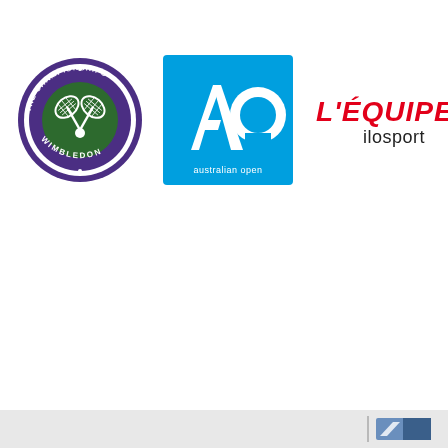[Figure (logo): Wimbledon The Championships circular badge logo with purple border, green center with crossed tennis rackets and ball, text reading THE CHAMPIONSHIPS and WIMBLEDON]
[Figure (logo): Australian Open logo: blue square background with white AO letters (A-shape) and text 'australian open' below]
[Figure (logo): L'Equipe ilosport logo: red italic text L'EQUIPE with black text ilosport below]
[Figure (logo): Small footer logo bottom right corner with blue and grey elements]